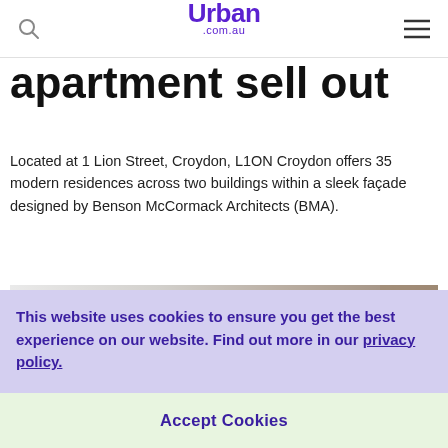Urban .com.au
apartment sell out
Located at 1 Lion Street, Croydon, L1ON Croydon offers 35 modern residences across two buildings within a sleek façade designed by Benson McCormack Architects (BMA).
[Figure (photo): Interior photo of a modern hallway/corridor with white ceiling, glass railing, and warm lighting on stairs in the background]
This website uses cookies to ensure you get the best experience on our website. Find out more in our privacy policy.
Accept Cookies